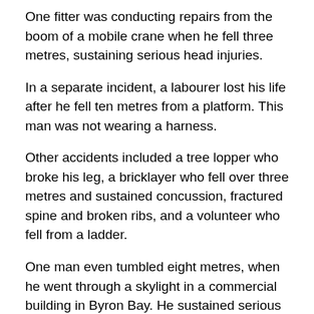One fitter was conducting repairs from the boom of a mobile crane when he fell three metres, sustaining serious head injuries.
In a separate incident, a labourer lost his life after he fell ten metres from a platform. This man was not wearing a harness.
Other accidents included a tree lopper who broke his leg, a bricklayer who fell over three metres and sustained concussion, fractured spine and broken ribs, and a volunteer who fell from a ladder.
One man even tumbled eight metres, when he went through a skylight in a commercial building in Byron Bay. He sustained serious injuries but he survived the fall.
WorkCover NSW general manager John Watson said